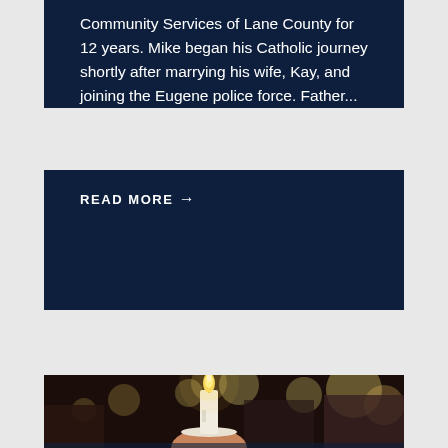Community Services of Lane County for 12 years. Mike began his Catholic journey shortly after marrying his wife, Kay, and joining the Eugene police force. Father...
READ MORE →
[Figure (photo): A hand holding a lit candle with a white wax drip guard/holder, with blurred bokeh lights of other candles and people in the background at what appears to be a candlelight vigil or religious ceremony.]